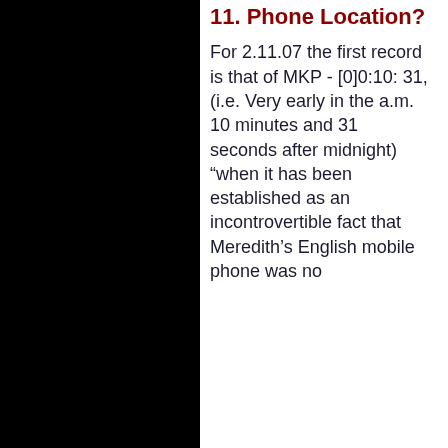11. Phone Location?
For 2.11.07 the first record is that of MKP - [0]0:10: 31, (i.e. Very early in the a.m. 10 minutes and 31 seconds after midnight) “when it has been established as an incontrovertible fact that Meredith’s English mobile phone was no